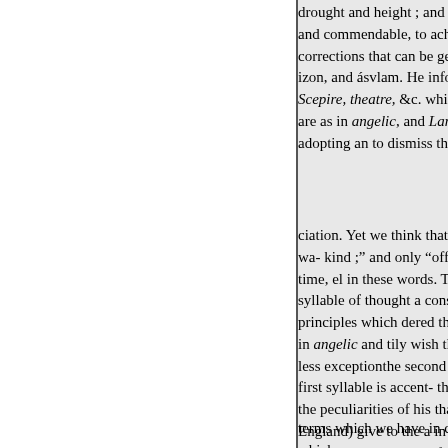drought and height ; and We join and commendable, to acherid tha corrections that can be general- d izon, and ásvlam. He informs us Scepire, theatre, &c. while it is a are as in angelic, and Lantiquity adopting an to dismiss the from y
ciation. Yet we think that he mig wa- kind ;" and only "offers this c time, el in these words. The acce syllable of thought a considerabl principles which dered the a long in angelic and tily wish that it m less exceptionthe second syllabl first syllable is accent- the Atlan the peculiarities of his that Amer England) give to the a in an- adv the etymological part of his unde mencement of a word, is repugna
terms which we have in common which are.